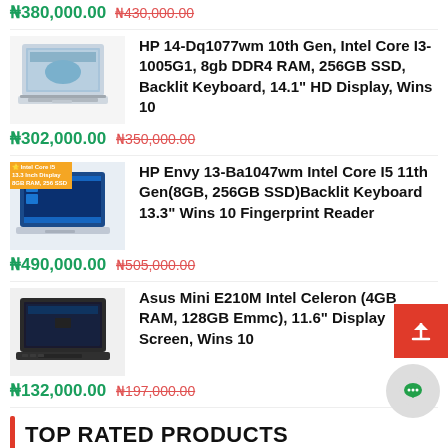₦380,000.00  ₦430,000.00
[Figure (photo): HP 14-Dq1077wm laptop product image, silver colored laptop open showing screen]
HP 14-Dq1077wm 10th Gen, Intel Core I3-1005G1, 8gb DDR4 RAM, 256GB SSD, Backlit Keyboard, 14.1" HD Display, Wins 10
₦302,000.00  ₦350,000.00
[Figure (photo): HP Envy 13-Ba1047wm laptop product image with Intel Core I5 badge overlay, blue Windows desktop visible on screen]
HP Envy 13-Ba1047wm Intel Core I5 11th Gen(8GB, 256GB SSD)Backlit Keyboard 13.3" Wins 10 Fingerprint Reader
₦490,000.00  ₦505,000.00
[Figure (photo): Asus Mini E210M laptop product image, dark colored small laptop]
Asus Mini E210M Intel Celeron (4GB RAM, 128GB Emmc), 11.6" Display Screen, Wins 10
₦132,000.00  ₦197,000.00
TOP RATED PRODUCTS